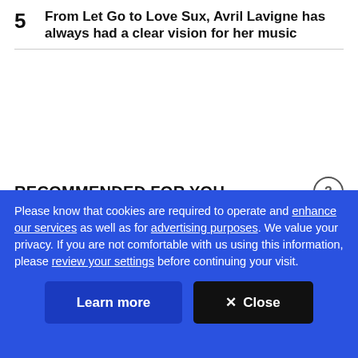5 From Let Go to Love Sux, Avril Lavigne has always had a clear vision for her music
RECOMMENDED FOR YOU
Please know that cookies are required to operate and enhance our services as well as for advertising purposes. We value your privacy. If you are not comfortable with us using this information, please review your settings before continuing your visit.